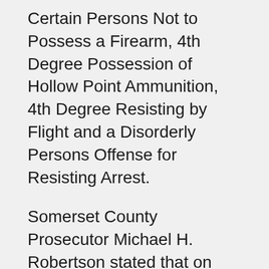Certain Persons Not to Possess a Firearm, 4th Degree Possession of Hollow Point Ammunition, 4th Degree Resisting by Flight and a Disorderly Persons Offense for Resisting Arrest.
Somerset County Prosecutor Michael H. Robertson stated that on Monday, May 17, at approximately 2:46 p.m. members of the Somerset County Prosecutor's Office Organized Crime and Narcotics Task Force Street Crimes Unit along with members of the Franklin Township Police Department were conducting a “Quality of Life” investigation in the area of Millstone Road in Somerset.
As a result of this investigation, Task Force